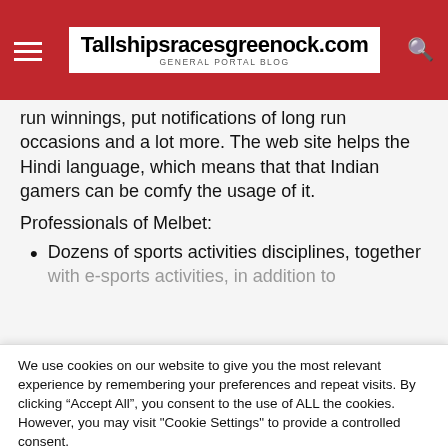Tallshipsracesgreenock.com — GENERAL PORTAL BLOG
run winnings, put notifications of long run occasions and a lot more. The web site helps the Hindi language, which means that that Indian gamers can be comfy the usage of it.
Professionals of Melbet:
Dozens of sports activities disciplines, together with e-sports activities, in addition to
We use cookies on our website to give you the most relevant experience by remembering your preferences and repeat visits. By clicking “Accept All”, you consent to the use of ALL the cookies. However, you may visit "Cookie Settings" to provide a controlled consent.
Cookie Settings | Accept All